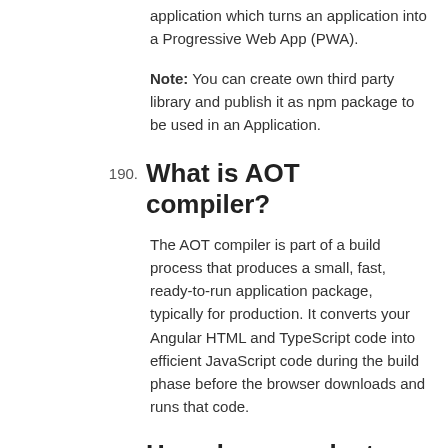application which turns an application into a Progressive Web App (PWA).
Note: You can create own third party library and publish it as npm package to be used in an Application.
190. What is AOT compiler?
The AOT compiler is part of a build process that produces a small, fast, ready-to-run application package, typically for production. It converts your Angular HTML and TypeScript code into efficient JavaScript code during the build phase before the browser downloads and runs that code.
191. How do you select an element in component template?
You can control any DOM element via ElementRef by injecting it into your component's constructor. i.e, The component should have constructor with ElementRef